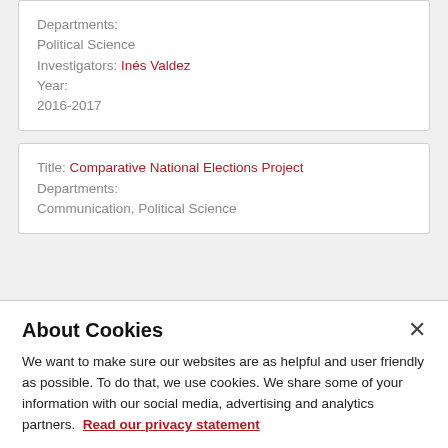Departments:
Political Science
Investigators: Inés Valdez
Year:
2016-2017
Title: Comparative National Elections Project
Departments:
Communication, Political Science
About Cookies
We want to make sure our websites are as helpful and user friendly as possible. To do that, we use cookies. We share some of your information with our social media, advertising and analytics partners. Read our privacy statement
Review cookie settings
Accept cookies